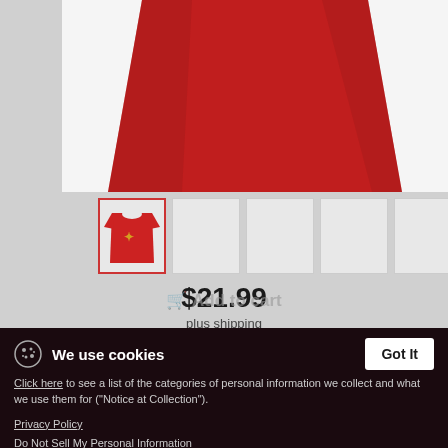[Figure (photo): Red women's t-shirt product photo cropped to show lower body of shirt]
[Figure (photo): Selected thumbnail showing red t-shirt with gold design, plus 4 empty thumbnail slots]
$21.99
plus shipping
Add to cart
We use cookies
Click here to see a list of the categories of personal information we collect and what we use them for ("Notice at Collection").
Privacy Policy
Do Not Sell My Personal Information
By using this website, I agree to the Terms and Conditions